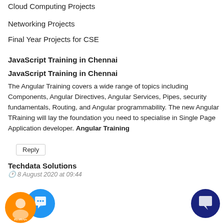Cloud Computing Projects
Networking Projects
Final Year Projects for CSE
JavaScript Training in Chennai
JavaScript Training in Chennai
The Angular Training covers a wide range of topics including Components, Angular Directives, Angular Services, Pipes, security fundamentals, Routing, and Angular programmability. The new Angular TRaining will lay the foundation you need to specialise in Single Page Application developer. Angular Training
Reply
Techdata Solutions
8 August 2020 at 09:44